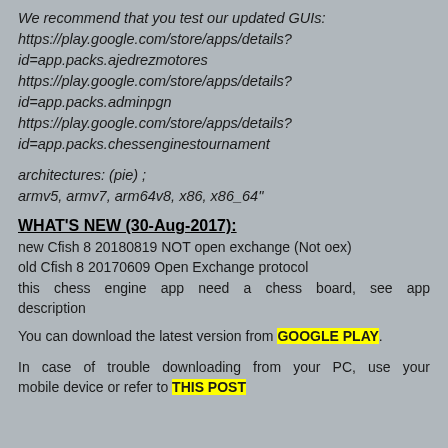We recommend that you test our updated GUIs: https://play.google.com/store/apps/details?id=app.packs.ajedrezmotores https://play.google.com/store/apps/details?id=app.packs.adminpgn https://play.google.com/store/apps/details?id=app.packs.chessenginestournament
architectures: (pie) ; armv5, armv7, arm64v8, x86, x86_64"
WHAT'S NEW (30-Aug-2017):
new Cfish 8 20180819 NOT open exchange (Not oex)
old Cfish 8 20170609 Open Exchange protocol
this chess engine app need a chess board, see app description
You can download the latest version from GOOGLE PLAY.
In case of trouble downloading from your PC, use your mobile device or refer to THIS POST